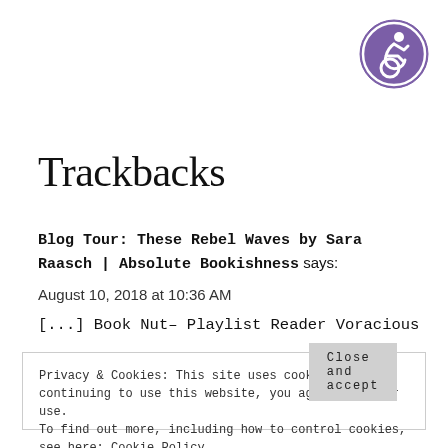[Figure (logo): Purple circle with white accessibility/person icon in top-right corner]
Trackbacks
Blog Tour: These Rebel Waves by Sara Raasch | Absolute Bookishness says:
August 10, 2018 at 10:36 AM
[...] Book Nut– Playlist Reader Voracious Blog– Review A
Privacy & Cookies: This site uses cookies. By continuing to use this website, you agree to their use.
To find out more, including how to control cookies, see here: Cookie Policy
Close and accept